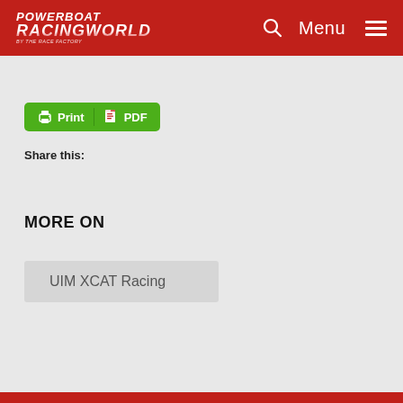POWERBOAT RACINGWORLD — Menu
[Figure (other): Print and PDF button — green rounded rectangle with printer icon, 'Print', PDF icon, 'PDF']
Share this:
MORE ON
UIM XCAT Racing